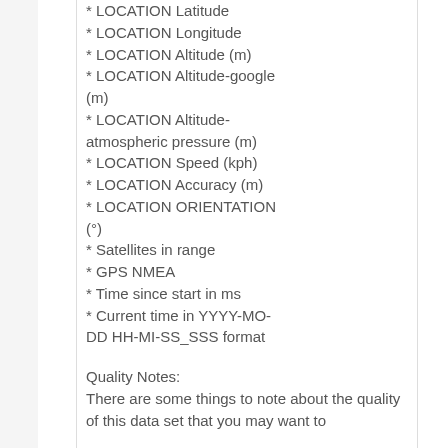* LOCATION Latitude
* LOCATION Longitude
* LOCATION Altitude (m)
* LOCATION Altitude-google (m)
* LOCATION Altitude-atmospheric pressure (m)
* LOCATION Speed (kph)
* LOCATION Accuracy (m)
* LOCATION ORIENTATION (°)
* Satellites in range
* GPS NMEA
* Time since start in ms
* Current time in YYYY-MO-DD HH-MI-SS_SSS format
Quality Notes:
There are some things to note about the quality of this data set that you may want to